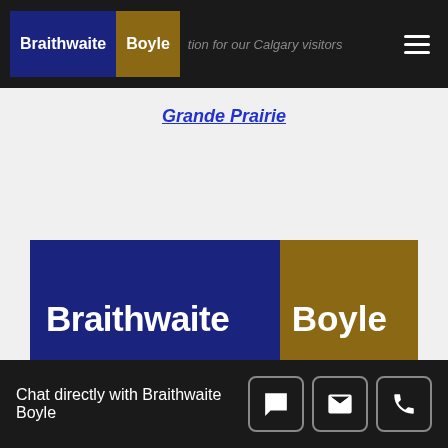Braithwaite Boyle — tion for our Calgary visitors
Grande Prairie
[Figure (logo): Braithwaite Boyle law firm logo with dark blue left panel reading 'Braithwaite' and gold right panel reading 'Boyle' in white bold text]
Speak to an Experienced Personal Injury Lawyer before your
Chat directly with Braithwaite Boyle